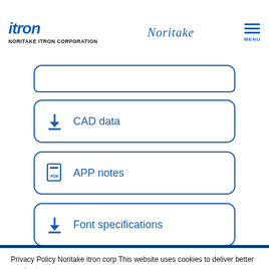itron NORITAKE ITRON CORPORATION | Noritake | MENU
CAD data
APP notes
Font specifications
Privacy Policy Noritake itron corp This website uses cookies to deliver better service to customers. (Please read our Privacy Policy) for information on using our cookies, including how to disable them.
OK